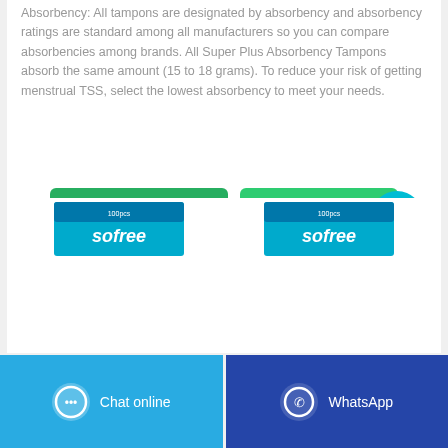Absorbency: All tampons are designated by absorbency and absorbency ratings are standard among all manufacturers so you can compare absorbencies among brands. All Super Plus Absorbency Tampons absorb the same amount (15 to 18 grams). To reduce your risk of getting menstrual TSS, select the lowest absorbency to meet your needs.
[Figure (other): Two green buttons: 'CONTACT SUPPLIER' and 'WHATSAPP']
[Figure (other): Cyan chat bubble icon with ellipsis in bottom right]
[Figure (photo): Two Sofree product boxes partially visible at the bottom]
[Figure (other): Footer bar with 'Chat online' (blue) and 'WhatsApp' (dark blue) buttons]